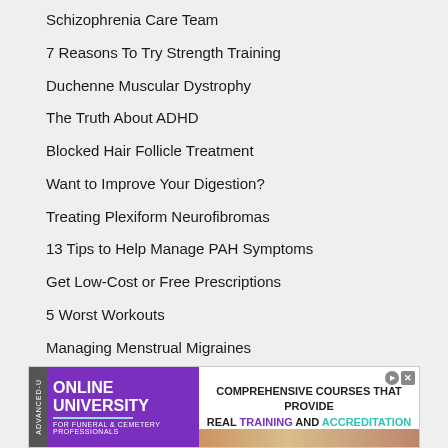Schizophrenia Care Team
7 Reasons To Try Strength Training
Duchenne Muscular Dystrophy
The Truth About ADHD
Blocked Hair Follicle Treatment
Want to Improve Your Digestion?
Treating Plexiform Neurofibromas
13 Tips to Help Manage PAH Symptoms
Get Low-Cost or Free Prescriptions
5 Worst Workouts
Managing Menstrual Migraines
Psoriatic Arthritis Manage Bad Days
Exercises for Osteoarthritis
A Social Life With Migraine
ADVERTISEMENT
[Figure (screenshot): Advertisement banner for Online University for Funeral and Cemetery Professionals showing comprehensive courses with real training and accreditation]